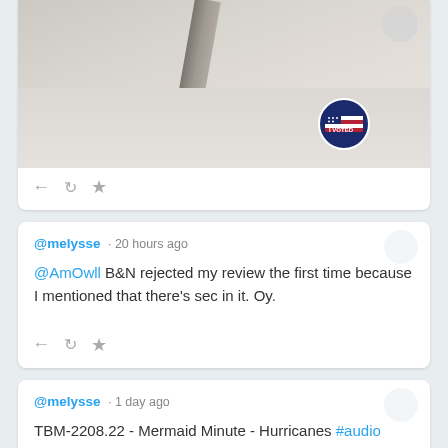[Figure (photo): Photo of person wearing white shirt with 'I VOTED' sticker, seatbelt visible across chest]
← ↺ ★ (tweet action icons)
@melysse · 20 hours ago
@AmOwll B&N rejected my review the first time because I mentioned that there's sec in it. Oy.
← ↺ ★ (tweet action icons)
@melysse · 1 day ago
TBM-2208.22 - Mermaid Minute - Hurricanes #audio #audioshorts